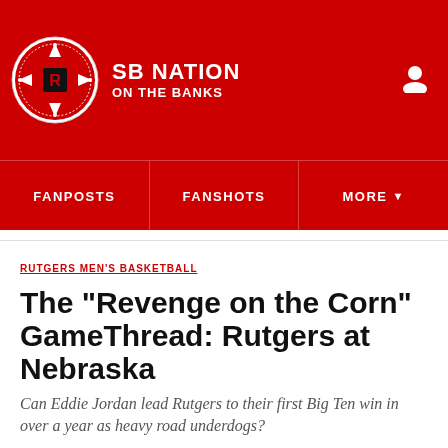SB NATION | ON THE BANKS
FANPOSTS | FANSHOTS | MORE
RUTGERS MEN'S BASKETBALL
The "Revenge on the Corn" GameThread: Rutgers at Nebraska
Can Eddie Jordan lead Rutgers to their first Big Ten win in over a year as heavy road underdogs?
By Aaron Breitman | @aaron_breitman | Feb 6, 2016, 1:45pm EST